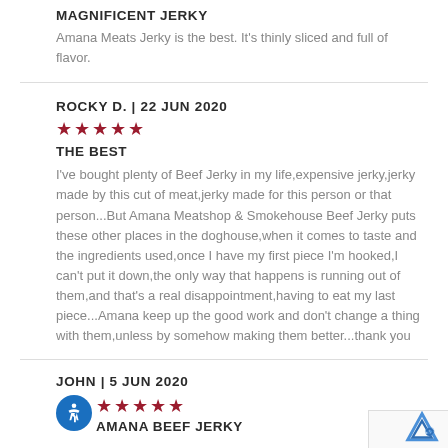MAGNIFICENT JERKY
Amana Meats Jerky is the best. It's thinly sliced and full of flavor.
ROCKY D. | 22 JUN 2020
★★★★★
THE BEST
I've bought plenty of Beef Jerky in my life,expensive jerky,jerky made by this cut of meat,jerky made for this person or that person...But Amana Meatshop & Smokehouse Beef Jerky puts these other places in the doghouse,when it comes to taste and the ingredients used,once I have my first piece I'm hooked,I can't put it down,the only way that happens is running out of them,and that's a real disappointment,having to eat my last piece...Amana keep up the good work and don't change a thing with them,unless by somehow making them better...thank you
JOHN | 5 JUN 2020
★★★★★
AMANA BEEF JERKY
Is it from Heaven?, Taste like it is, But No, It's from Iowa!